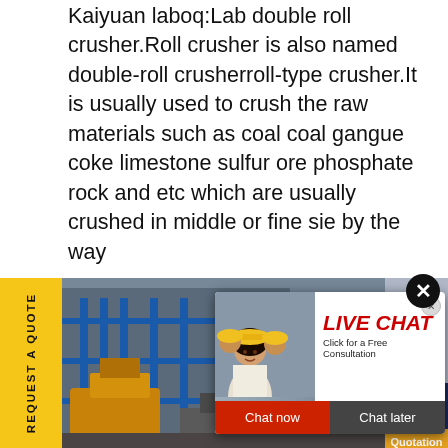Kaiyuan laboq:Lab double roll crusher.Roll crusher is also named double-roll crusherroll-type crusher.It is usually used to crush the raw materials such as coal coal gangue coke limestone sulfur ore phosphate rock and etc which are usually crushed in middle or fine sie by the way
[Figure (screenshot): Yellow 'REQUEST A QUOTE' vertical sidebar button on the left, industrial machinery photo background, live chat popup overlay with red 'LIVE CHAT' heading and 'Click for a Free Consultation' text, Chat now and Chat later buttons, customer service representative photo, 'Have any requests, click here.' panel with Quotation button]